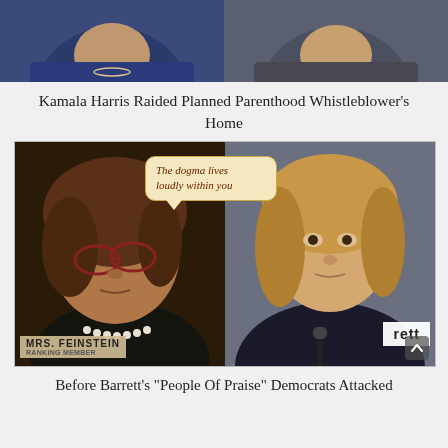[Figure (photo): Two partial photos side by side at top of page, cropped at bottom showing clothing/upper body portions]
Kamala Harris Raided Planned Parenthood Whistleblower's Home
[Figure (photo): Split photo of two women at a Senate hearing. Left: older woman with red glasses and pearl necklace (Sen. Feinstein nameplate). Right: younger woman (Barrett nameplate). Speech bubble overlay reads: 'The dogma lives loudly within you']
Before Barrett's "People Of Praise" Democrats Attacked